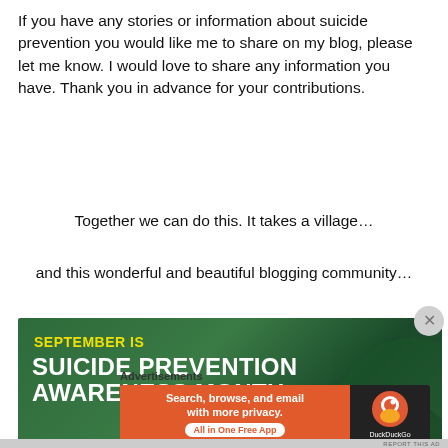If you have any stories or information about suicide prevention you would like me to share on my blog, please let me know. I would love to share any information you have. Thank you in advance for your contributions.
Together we can do this. It takes a village…
and this wonderful and beautiful blogging community…
[Figure (infographic): Green banner image reading 'SEPTEMBER IS SUICIDE PREVENTION AWARENESS MONTH' in bold white and yellow text on a dark green background]
Advertisements
[Figure (infographic): DuckDuckGo advertisement banner: orange background with text 'Search, browse, and email with more privacy. All in One Free App' and DuckDuckGo logo on dark right panel]